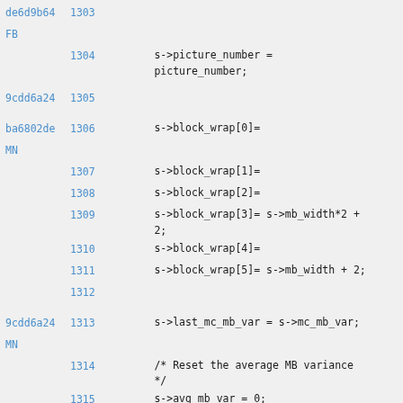de6d9b64 1303
FB
1304     s->picture_number = picture_number;
9cdd6a24 1305
ba6802de 1306     s->block_wrap[0]=
MN
1307     s->block_wrap[1]=
1308     s->block_wrap[2]=
1309     s->block_wrap[3]= s->mb_width*2 + 2;
1310     s->block_wrap[4]=
1311     s->block_wrap[5]= s->mb_width + 2;
1312
9cdd6a24 1313     s->last_mc_mb_var = s->mc_mb_var;
MN
1314     /* Reset the average MB variance */
1315     s->avg_mb_var = 0;
1316     s->mc_mb_var = 0;